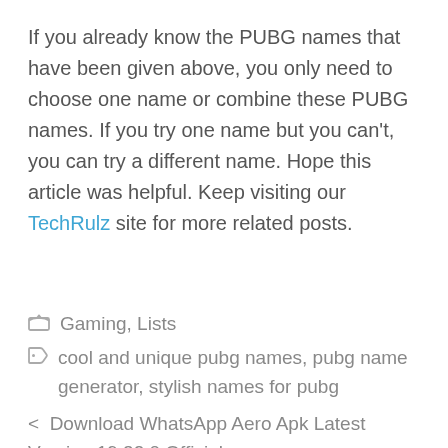If you already know the PUBG names that have been given above, you only need to choose one name or combine these PUBG names. If you try one name but you can't, you can try a different name. Hope this article was helpful. Keep visiting our TechRulz site for more related posts.
Gaming, Lists
cool and unique pubg names, pubg name generator, stylish names for pubg
< Download WhatsApp Aero Apk Latest Version 19.32.0 Official